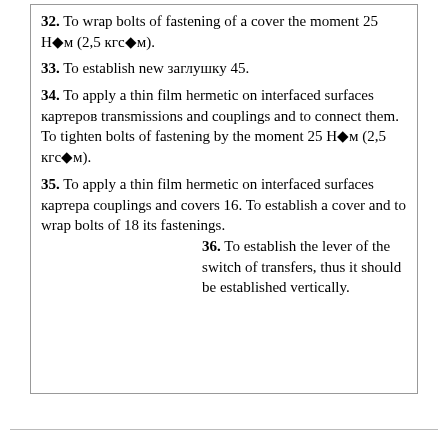32. To wrap bolts of fastening of a cover the moment 25 Н·м (2,5 кгс·м).
33. To establish new заглушку 45.
34. To apply a thin film hermetic on interfaced surfaces картеров transmissions and couplings and to connect them. To tighten bolts of fastening by the moment 25 Н·м (2,5 кгс·м).
35. To apply a thin film hermetic on interfaced surfaces картера couplings and covers 16. To establish a cover and to wrap bolts of 18 its fastenings.
36. To establish the lever of the switch of transfers, thus it should be established vertically.